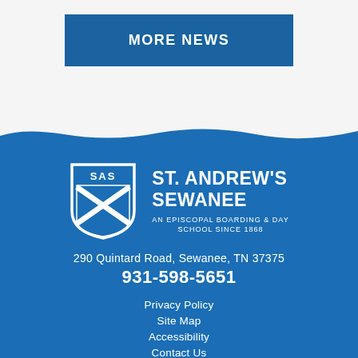MORE NEWS
[Figure (logo): St. Andrew's Sewanee school shield logo with SAS initials and diagonal cross, white on blue background, with school name 'St. Andrew's Sewanee' and tagline 'An Episcopal Boarding & Day School Since 1868']
290 Quintard Road, Sewanee, TN 37375
931-598-5651
Privacy Policy
Site Map
Accessibility
Contact Us